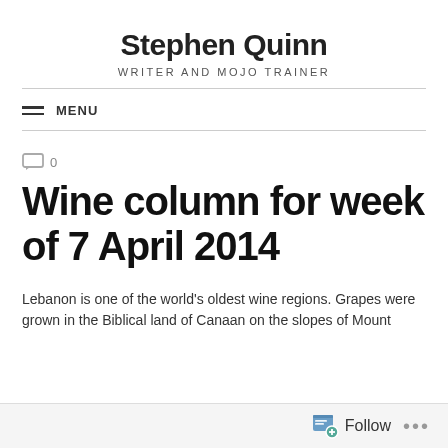Stephen Quinn
WRITER AND MOJO TRAINER
≡ MENU
💬 0
Wine column for week of 7 April 2014
Lebanon is one of the world's oldest wine regions. Grapes were grown in the Biblical land of Canaan on the slopes of Mount
Follow ...